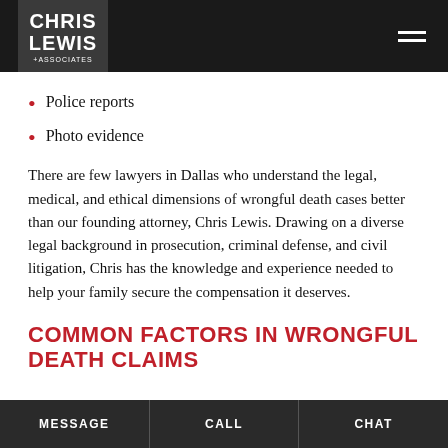[Figure (logo): Chris Lewis & Associates law firm logo — white text on dark background with hamburger menu icon]
Police reports
Photo evidence
There are few lawyers in Dallas who understand the legal, medical, and ethical dimensions of wrongful death cases better than our founding attorney, Chris Lewis. Drawing on a diverse legal background in prosecution, criminal defense, and civil litigation, Chris has the knowledge and experience needed to help your family secure the compensation it deserves.
COMMON FACTORS IN WRONGFUL DEATH CLAIMS
MESSAGE   CALL   CHAT